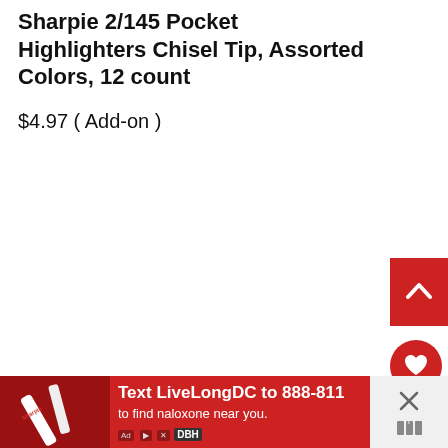Sharpie 2/145 Pocket Highlighters Chisel Tip, Assorted Colors, 12 count
$4.97 ( Add-on )
[Figure (screenshot): Red scroll-to-top button with upward chevron arrow in top-right area]
[Figure (screenshot): Red circular heart/favorite button]
[Figure (screenshot): White circular share button with share icon]
[Figure (screenshot): Red advertisement banner: Text LiveLongDC to 888-811 to find naloxone near you. With DBH logo, ad controls icons, and a close X button on the right.]